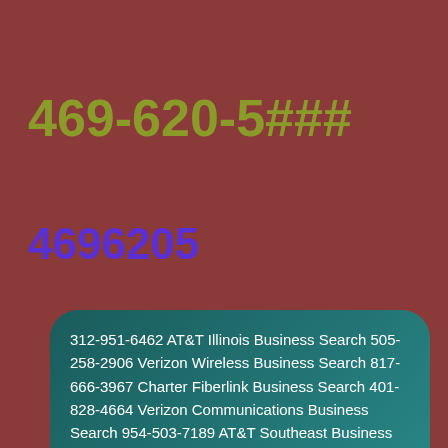469-620-5###
4696205
312-951-6462 AT&T Illinois Business Search 505-258-2906 Verizon Wireless Business Search 817-666-3967 Charter Fiberlink Business Search 401-828-4664 Verizon Communications Business Search 954-503-7189 AT&T Southeast Business Search 973-240-2205 AT&T Business Search 606-957-6027 Windstream Business Search 626-576-3036 AT&T California Business Search 336-525-8507